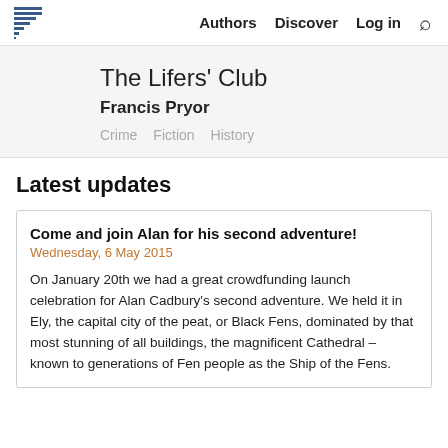Authors  Discover  Log in
The Lifers' Club
Francis Pryor
Crime  Fiction  History
Latest updates
Come and join Alan for his second adventure!
Wednesday, 6 May 2015
On January 20th we had a great crowdfunding launch celebration for Alan Cadbury's second adventure. We held it in Ely, the capital city of the peat, or Black Fens, dominated by that most stunning of all buildings, the magnificent Cathedral – known to generations of Fen people as the Ship of the Fens.